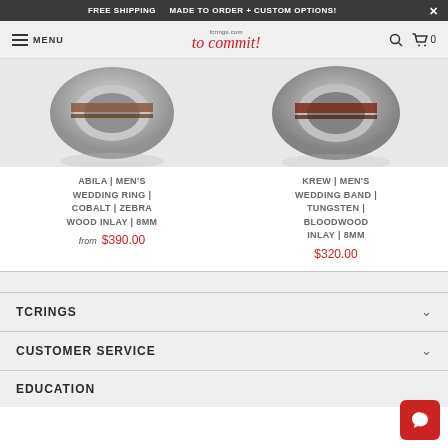FREE SHIPPING   MADE TO ORDER + CUSTOM OPTIONS!   X
[Figure (screenshot): Website navigation bar with hamburger menu, MENU text, TCrings.com 'to commit!' logo in red script, search icon, and cart icon with 0]
[Figure (photo): Two men's wedding ring product images side by side - left shows cobalt ring with zebra wood inlay, right shows tungsten ring with bloodwood inlay]
ABILA | MEN'S WEDDING RING | COBALT | ZEBRA WOOD INLAY | 8MM
from $390.00
KREW | MEN'S WEDDING BAND | TUNGSTEN | BLOODWOOD INLAY | 8MM
$320.00
TCRINGS
CUSTOMER SERVICE
EDUCATION